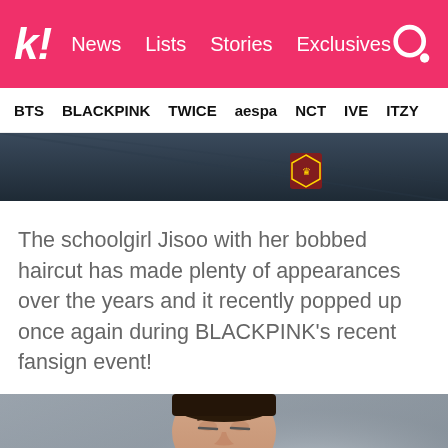k! News Lists Stories Exclusives
BTS BLACKPINK TWICE aespa NCT IVE ITZY
[Figure (photo): Top portion of a dark image showing a person in a formal jacket with a crest/emblem visible]
The schoolgirl Jisoo with her bobbed haircut has made plenty of appearances over the years and it recently popped up once again during BLACKPINK's recent fansign event!
[Figure (photo): A young man in a dark jacket looking down, holding pink fluffy mittens/slippers, with blurred background]